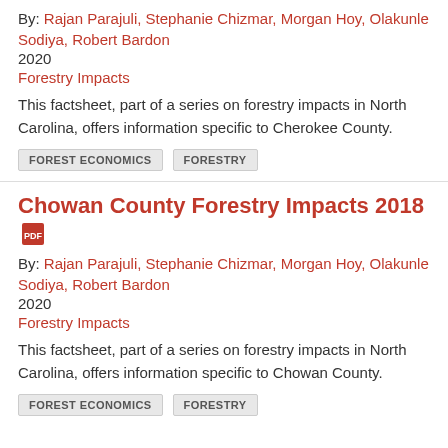By: Rajan Parajuli, Stephanie Chizmar, Morgan Hoy, Olakunle Sodiya, Robert Bardon
2020
Forestry Impacts
This factsheet, part of a series on forestry impacts in North Carolina, offers information specific to Cherokee County.
FOREST ECONOMICS
FORESTRY
Chowan County Forestry Impacts 2018
By: Rajan Parajuli, Stephanie Chizmar, Morgan Hoy, Olakunle Sodiya, Robert Bardon
2020
Forestry Impacts
This factsheet, part of a series on forestry impacts in North Carolina, offers information specific to Chowan County.
FOREST ECONOMICS
FORESTRY